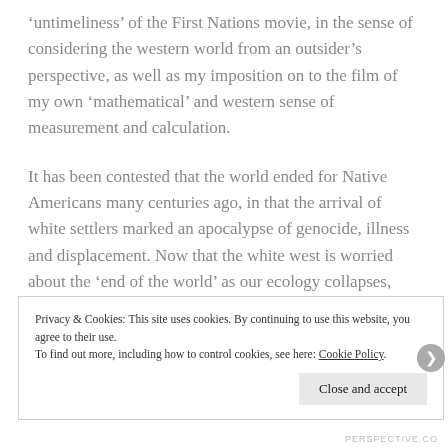'untimeliness' of the First Nations movie, in the sense of considering the western world from an outsider's perspective, as well as my imposition on to the film of my own 'mathematical' and western sense of measurement and calculation.
It has been contested that the world ended for Native Americans many centuries ago, in that the arrival of white settlers marked an apocalypse of genocide, illness and displacement. Now that the white west is worried about the 'end of the world' as our ecology collapses, what really is revealed is its ongoing delusion that its
Privacy & Cookies: This site uses cookies. By continuing to use this website, you agree to their use.
To find out more, including how to control cookies, see here: Cookie Policy
Close and accept
PERSPECTIVE.CO